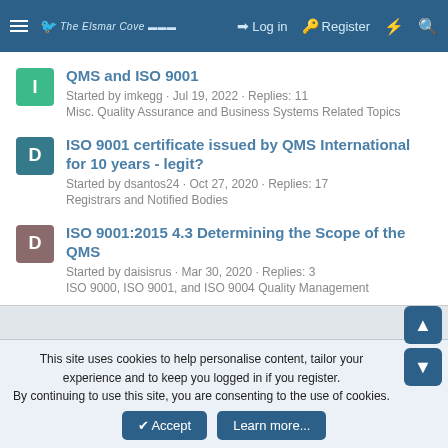The Elsmar Cove - Log in - Register
QMS and ISO 9001 - Started by imkegg · Jul 19, 2022 · Replies: 11 - Misc. Quality Assurance and Business Systems Related Topics
ISO 9001 certificate issued by QMS International for 10 years - legit? - Started by dsantos24 · Oct 27, 2020 · Replies: 17 - Registrars and Notified Bodies
ISO 9001:2015 4.3 Determining the Scope of the QMS - Started by daisisrus · Mar 30, 2020 · Replies: 3 - ISO 9000, ISO 9001, and ISO 9004 Quality Management
This site uses cookies to help personalise content, tailor your experience and to keep you logged in if you register. By continuing to use this site, you are consenting to the use of cookies.
Accept - Learn more...